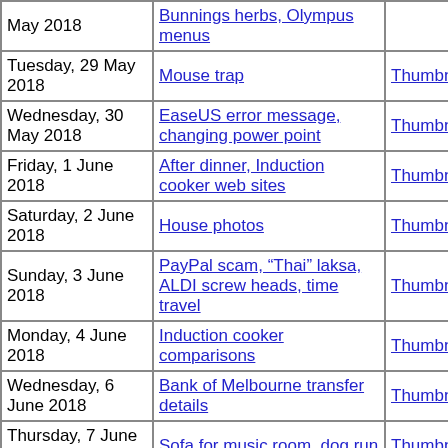| Date | Description | Thumbnails | Small photos | diary |
| --- | --- | --- | --- | --- |
| May 2018 | Bunnings herbs, Olympus menus |  | photos |  |
| Tuesday, 29 May 2018 | Mouse trap | Thumbnails | Small photos | diary |
| Wednesday, 30 May 2018 | EaseUS error message, changing power point | Thumbnails | Small photos | diary |
| Friday, 1 June 2018 | After dinner, Induction cooker web sites | Thumbnails | Small photos | diary |
| Saturday, 2 June 2018 | House photos | Thumbnails | Small photos | diary |
| Sunday, 3 June 2018 | PayPal scam, “Thai” laksa, ALDI screw heads, time travel | Thumbnails | Small photos | diary |
| Monday, 4 June 2018 | Induction cooker comparisons | Thumbnails | Small photos | diary |
| Wednesday, 6 June 2018 | Bank of Melbourne transfer details | Thumbnails | Small photos | diary |
| Thursday, 7 June 2018 | Sofa for music room, dog run | Thumbnails | Small photos | diary |
| Saturday, 9 June 2018 | House photos | Thumbnails | Small photos | diary |